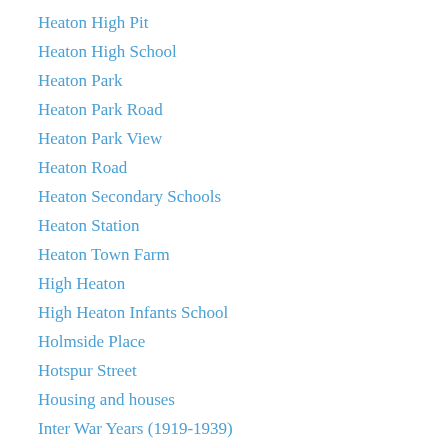Heaton High Pit
Heaton High School
Heaton Park
Heaton Park Road
Heaton Park View
Heaton Road
Heaton Secondary Schools
Heaton Station
Heaton Town Farm
High Heaton
High Heaton Infants School
Holmside Place
Hotspur Street
Housing and houses
Inter War Years (1919-1939)
Jack Common (1903-1968), writer
James Birkett (1831-1898), local politician and radical
Jesmond Dene
Jesmond Vale
Jesmond Vale Terrace